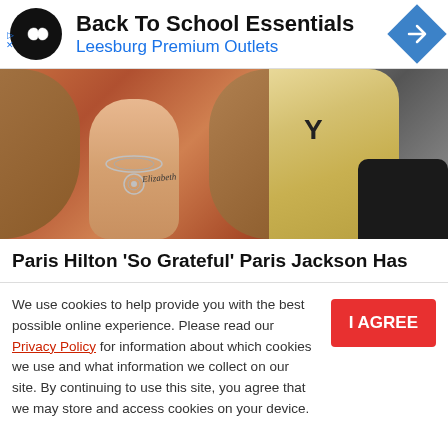[Figure (other): Advertisement banner for Back To School Essentials at Leesburg Premium Outlets with infinity loop logo and blue diamond navigation icon]
[Figure (photo): Two celebrity women side by side: left shows Paris Jackson wearing an orange dress with a diamond necklace and a tattoo; right shows Paris Hilton with blonde hair wearing a dark outfit]
Paris Hilton 'So Grateful' Paris Jackson Has
We use cookies to help provide you with the best possible online experience. Please read our Privacy Policy for information about which cookies we use and what information we collect on our site. By continuing to use this site, you agree that we may store and access cookies on your device.